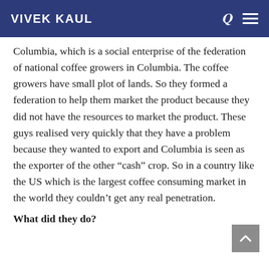VIVEK KAUL
Columbia, which is a social enterprise of the federation of national coffee growers in Columbia. The coffee growers have small plot of lands. So they formed a federation to help them market the product because they did not have the resources to market the product. These guys realised very quickly that they have a problem because they wanted to export and Columbia is seen as the exporter of the other “cash” crop. So in a country like the US which is the largest coffee consuming market in the world they couldn’t get any real penetration.
What did they do?